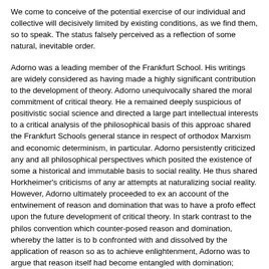We come to conceive of the potential exercise of our individual and collective will decisively limited by existing conditions, as we find them, so to speak. The status falsely perceived as a reflection of some natural, inevitable order.
Adorno was a leading member of the Frankfurt School. His writings are widely considered as having made a highly significant contribution to the development of theory. Adorno unequivocally shared the moral commitment of critical theory. He a remained deeply suspicious of positivistic social science and directed a large part intellectual interests to a critical analysis of the philosophical basis of this approac shared the Frankfurt Schools general stance in respect of orthodox Marxism and economic determinism, in particular. Adorno persistently criticized any and all philosophical perspectives which posited the existence of some a historical and immutable basis to social reality. He thus shared Horkheimer's criticisms of any ar attempts at naturalizing social reality. However, Adorno ultimately proceeded to ex an account of the entwinement of reason and domination that was to have a profo effect upon the future development of critical theory. In stark contrast to the philos convention which counter-posed reason and domination, whereby the latter is to b confronted with and dissolved by the application of reason so as to achieve enlightenment, Adorno was to argue that reason itself had become entangled with domination; reason had become a tool and de vic e for domination and suffering. T led Adorno to reassess the prospects for overcoming domination and suffering. Pu simply, Adorno was far more sanguine in respect of the prospects for realizing crit theorys aims than other members of the Frankfurt School. Adorno was perhaps th despairing of the Frankfurt School intellectuals.
The Frankfurt School provided Adorno with an intellectual home in which to work. development of Adornos thought was to have a profound effect upon the future